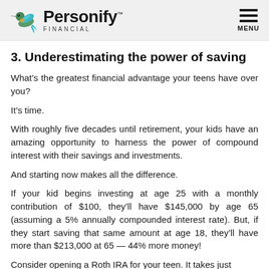Personify Financial — MENU
3. Underestimating the power of saving
What’s the greatest financial advantage your teens have over you?
It’s time.
With roughly five decades until retirement, your kids have an amazing opportunity to harness the power of compound interest with their savings and investments.
And starting now makes all the difference.
If your kid begins investing at age 25 with a monthly contribution of $100, they’ll have $145,000 by age 65 (assuming a 5% annually compounded interest rate). But, if they start saving that same amount at age 18, they’ll have more than $213,000 at 65 — 44% more money!
Consider opening a Roth IRA for your teen. It takes just